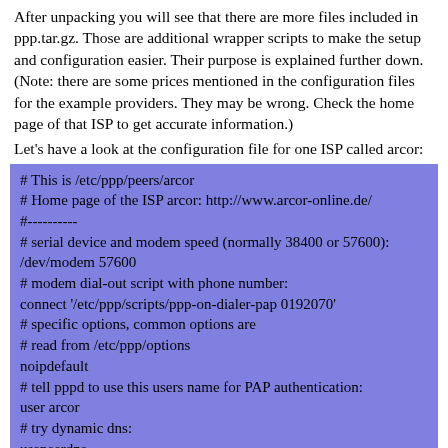After unpacking you will see that there are more files included in ppp.tar.gz. Those are additional wrapper scripts to make the setup and configuration easier. Their purpose is explained further down. (Note: there are some prices mentioned in the configuration files for the example providers. They may be wrong. Check the home page of that ISP to get accurate information.)
Let's have a look at the configuration file for one ISP called arcor:
# This is /etc/ppp/peers/arcor
# Home page of the ISP arcor: http://www.arcor-online.de/
#----------
# serial device and modem speed (normally 38400 or 57600):
/dev/modem 57600
# modem dial-out script with phone number:
connect '/etc/ppp/scripts/ppp-on-dialer-pap 0192070'
# specific options, common options are
# read from /etc/ppp/options
noipdefault
# tell pppd to use this users name for PAP authentication:
user arcor
# try dynamic dns:
usepeerdns
#
A line with a hash mark (#) starts a comment. The first parameter (/dev/modem) in the is the serial device to use. The /dev/modem